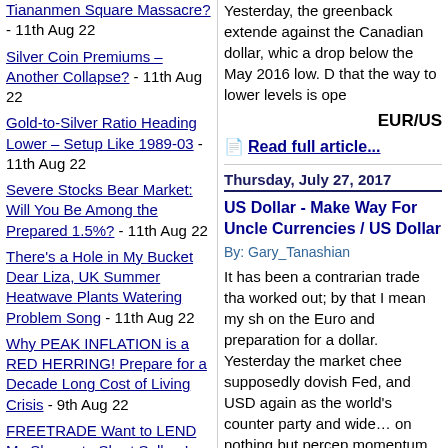Tiananmen Square Massacre? - 11th Aug 22
Silver Coin Premiums – Another Collapse? - 11th Aug 22
Gold-to-Silver Ratio Heading Lower – Setup Like 1989-03 - 11th Aug 22
Severe Stocks Bear Market: Will You Be Among the Prepared 1.5%? - 11th Aug 22
There's a Hole in My Bucket Dear Liza, UK Summer Heatwave Plants Watering Problem Song - 11th Aug 22
Why PEAK INFLATION is a RED HERRING! Prepare for a Decade Long Cost of Living Crisis - 9th Aug 22
FREETRADE Want to LEND My Shares to Short Sellers! - 8th Aug 22
Stock Market Unclosed Gap - 8th Aug 22
Yesterday, the greenback extended against the Canadian dollar, which a drop below the May 2016 low. D that the way to lower levels is ope
EUR/US
Read full article...
Thursday, July 27, 2017
US Dollar - Make Way For Uncle Currencies / US Dollar
By: Gary_Tanashian
It has been a contrarian trade tha worked out; by that I mean my sh on the Euro and preparation for a dollar. Yesterday the market chee supposedly dovish Fed, and USD again as the world's counter party and wide… on nothing but percep momentum and gaming on FOMC